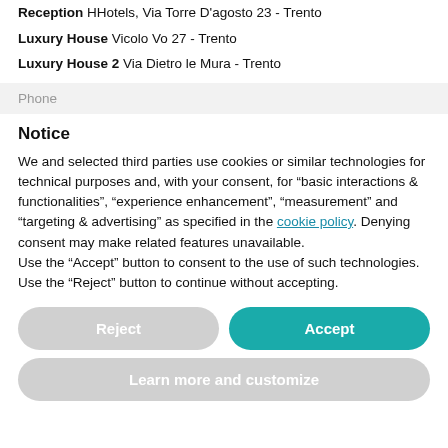Reception HHotels, Via Torre D'agosto 23 - Trento
Luxury House Vicolo Vo 27 - Trento
Luxury House 2 Via Dietro le Mura - Trento
Phone
Notice
We and selected third parties use cookies or similar technologies for technical purposes and, with your consent, for “basic interactions & functionalities”, “experience enhancement”, “measurement” and “targeting & advertising” as specified in the cookie policy. Denying consent may make related features unavailable.
Use the “Accept” button to consent to the use of such technologies. Use the “Reject” button to continue without accepting.
Reject
Accept
Learn more and customize